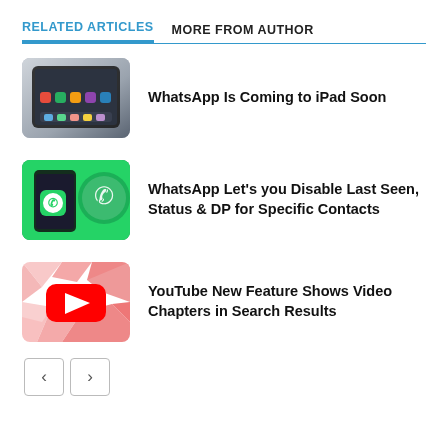RELATED ARTICLES   MORE FROM AUTHOR
[Figure (photo): iPad showing app icons on its screen — thumbnail for WhatsApp iPad article]
WhatsApp Is Coming to iPad Soon
[Figure (photo): WhatsApp logo on a green background with a smartphone — thumbnail for WhatsApp privacy article]
WhatsApp Let’s you Disable Last Seen, Status & DP for Specific Contacts
[Figure (photo): YouTube logo icon on a red and white broken/shattered background — thumbnail for YouTube chapters article]
YouTube New Feature Shows Video Chapters in Search Results